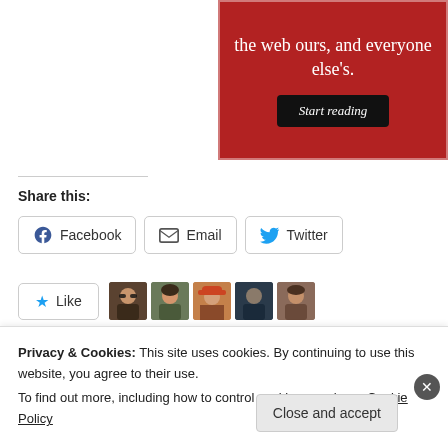[Figure (screenshot): Red promotional banner (cropped, top-right) with white serif text reading 'the web ours, and everyone else's.' and a dark 'Start reading' button]
Share this:
Facebook  Email  Twitter (share buttons)
Like  (with 5 blogger avatars)  5 bloggers like this.
Privacy & Cookies: This site uses cookies. By continuing to use this website, you agree to their use.
To find out more, including how to control cookies, see here: Cookie Policy
Close and accept